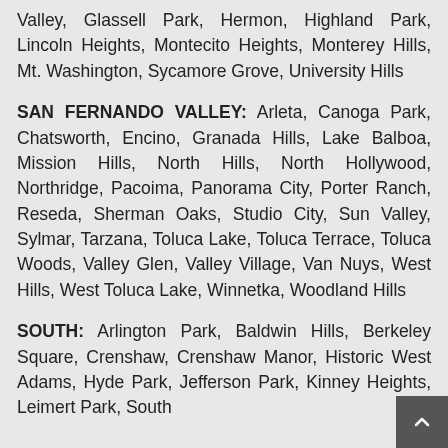Valley, Glassell Park, Hermon, Highland Park, Lincoln Heights, Montecito Heights, Monterey Hills, Mt. Washington, Sycamore Grove, University Hills
SAN FERNANDO VALLEY: Arleta, Canoga Park, Chatsworth, Encino, Granada Hills, Lake Balboa, Mission Hills, North Hills, North Hollywood, Northridge, Pacoima, Panorama City, Porter Ranch, Reseda, Sherman Oaks, Studio City, Sun Valley, Sylmar, Tarzana, Toluca Lake, Toluca Terrace, Toluca Woods, Valley Glen, Valley Village, Van Nuys, West Hills, West Toluca Lake, Winnetka, Woodland Hills
SOUTH: Arlington Park, Baldwin Hills, Berkeley Square, Crenshaw, Crenshaw Manor, Historic West Adams, Hyde Park, Jefferson Park, Kinney Heights, Leimert Park, South